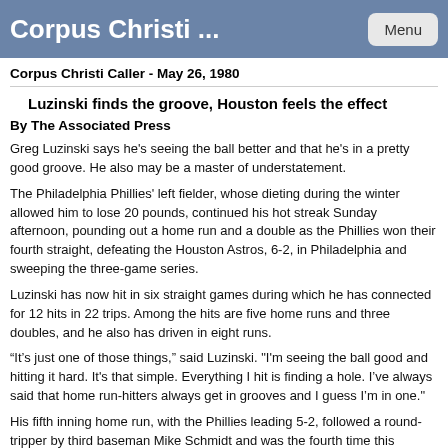Corpus Christi ...
Corpus Christi Caller - May 26, 1980
Luzinski finds the groove, Houston feels the effect
By The Associated Press
Greg Luzinski says he's seeing the ball better and that he's in a pretty good groove. He also may be a master of understatement.
The Philadelphia Phillies' left fielder, whose dieting during the winter allowed him to lose 20 pounds, continued his hot streak Sunday afternoon, pounding out a home run and a double as the Phillies won their fourth straight, defeating the Houston Astros, 6-2, in Philadelphia and sweeping the three-game series.
Luzinski has now hit in six straight games during which he has connected for 12 hits in 22 trips. Among the hits are five home runs and three doubles, and he also has driven in eight runs.
“It’s just one of those things,” said Luzinski. "I'm seeing the ball good and hitting it hard. It's that simple. Everything I hit is finding a hole. I’ve always said that home run-hitters always get in grooves and I guess I’m in one."
His fifth inning home run, with the Phillies leading 5-2, followed a round-tripper by third baseman Mike Schmidt and was the fourth time this season that the two sluggers have hit back-to-back homers. Both now have 12 home runs, tops in the major leagues.
The Phillies, who announced before the game that right-hander Larry Christenson would be disabled for 60 days due to a bone spur operation Wednesday, got eight strong innings from Dick Ruthven.
Ruthven, 5-3, scattered eight hits in gaining his fifth victory in eight decisions.